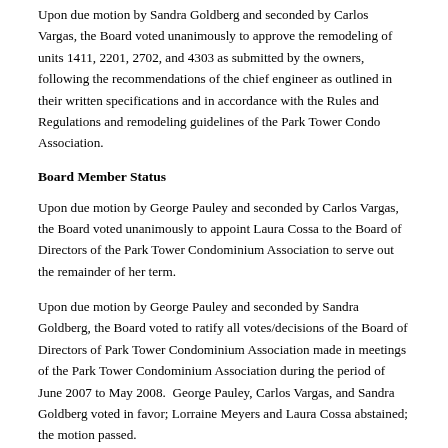Upon due motion by Sandra Goldberg and seconded by Carlos Vargas, the Board voted unanimously to approve the remodeling of units 1411, 2201, 2702, and 4303 as submitted by the owners, following the recommendations of the chief engineer as outlined in their written specifications and in accordance with the Rules and Regulations and remodeling guidelines of the Park Tower Condo Association.
Board Member Status
Upon due motion by George Pauley and seconded by Carlos Vargas, the Board voted unanimously to appoint Laura Cossa to the Board of Directors of the Park Tower Condominium Association to serve out the remainder of her term.
Upon due motion by George Pauley and seconded by Sandra Goldberg, the Board voted to ratify all votes/decisions of the Board of Directors of Park Tower Condominium Association made in meetings of the Park Tower Condominium Association during the period of June 2007 to May 2008.  George Pauley, Carlos Vargas, and Sandra Goldberg voted in favor; Lorraine Meyers and Laura Cossa abstained; the motion passed.
Upon due motion by George Pauley and seconded by Lorraine